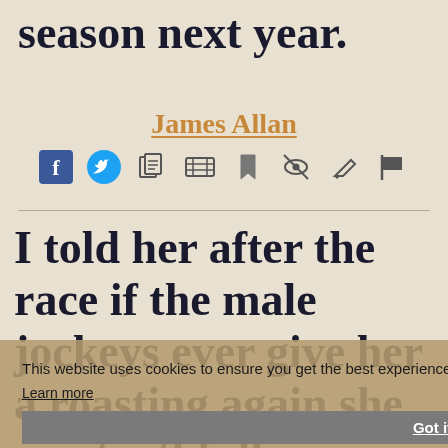season next year.
James Allan
[Figure (other): Social media and action icons: Facebook, Twitter, copy, video, bookmark, hide, edit/pen, flag]
I told her after the race if the male jockeys ever give her a roasting again she can truthfully say she can beat them
This website uses cookies to ensure you get the best experience on our website. Learn more Got it!